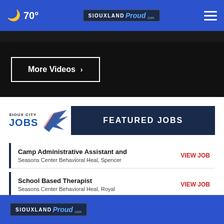70° | SIOUXLAND Proud
More Videos ›
[Figure (other): Sioux City Jobs logo with bird graphic and FEATURED JOBS banner]
Camp Administrative Assistant and
Seasons Center Behavioral Heal, Spencer — VIEW JOB
School Based Therapist
Seasons Center Behavioral Heal, Royal — VIEW JOB
SIOUXLAND Proud .com